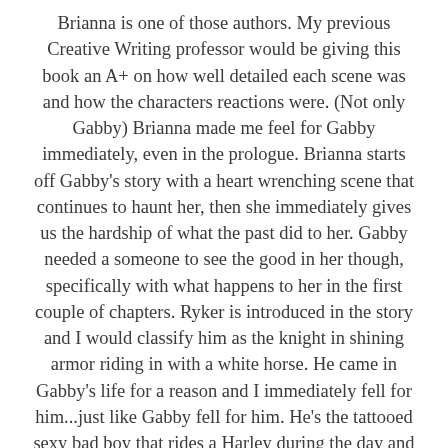Brianna is one of those authors. My previous Creative Writing professor would be giving this book an A+ on how well detailed each scene was and how the characters reactions were. (Not only Gabby) Brianna made me feel for Gabby immediately, even in the prologue. Brianna starts off Gabby's story with a heart wrenching scene that continues to haunt her, then she immediately gives us the hardship of what the past did to her. Gabby needed a someone to see the good in her though, specifically with what happens to her in the first couple of chapters. Ryker is introduced in the story and I would classify him as the knight in shining armor riding in with a white horse. He came in Gabby's life for a reason and I immediately fell for him...just like Gabby fell for him. He's the tattooed sexy bad boy that rides a Harley during the day and races a Ducati at night illegally. He's such a sweetie though with a kind heart. (One scene with his niece...yup...instant attraction. I